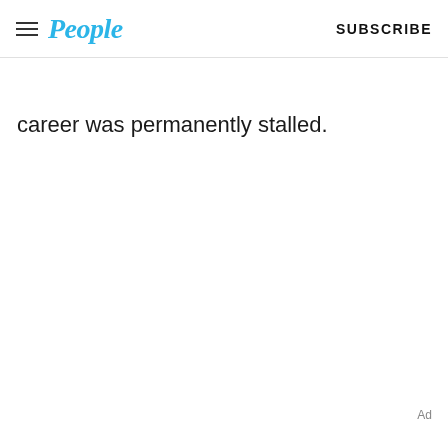People | SUBSCRIBE
career was permanently stalled.
Ad